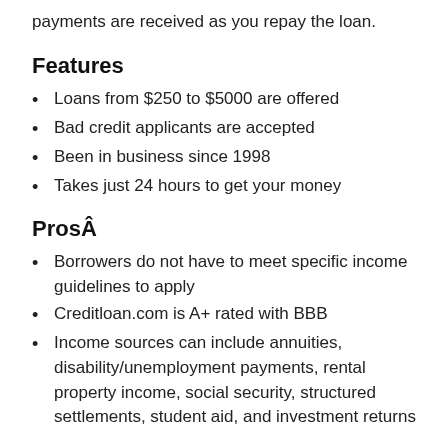payments are received as you repay the loan.
Features
Loans from $250 to $5000 are offered
Bad credit applicants are accepted
Been in business since 1998
Takes just 24 hours to get your money
ProsÂ
Borrowers do not have to meet specific income guidelines to apply
Creditloan.com is A+ rated with BBB
Income sources can include annuities, disability/unemployment payments, rental property income, social security, structured settlements, student aid, and investment returns
Cons
Do not serve NY or CT customers